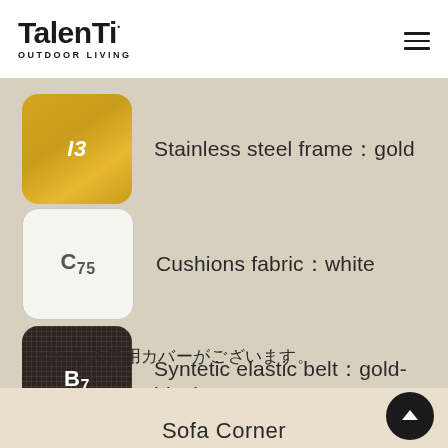Talenti OUTDOOR LIVING
I3  Stainless steel frame：gold
C75  Cushions fabric：white
B7  Syntetic elastic belt：gold-black
※別売りの専用カバーがございます。
Sofa Corner